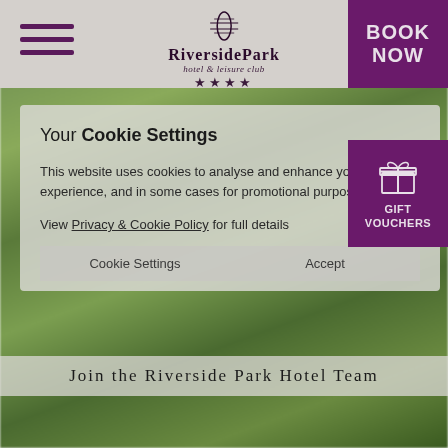[Figure (screenshot): Website screenshot of Riverside Park Hotel & Leisure Club showing cookie settings dialog, navigation header with hamburger menu, Book Now button, and Gift Vouchers panel over a blurred green nature background.]
RIVERSIDE PARK hotel & leisure club ★★★★
Your Cookie Settings
This website uses cookies to analyse and enhance your website experience, and in some cases for promotional purposes.
View Privacy & Cookie Policy for full details
Cookie Settings   Accept
JOIN THE RIVERSIDE PARK HOTEL TEAM